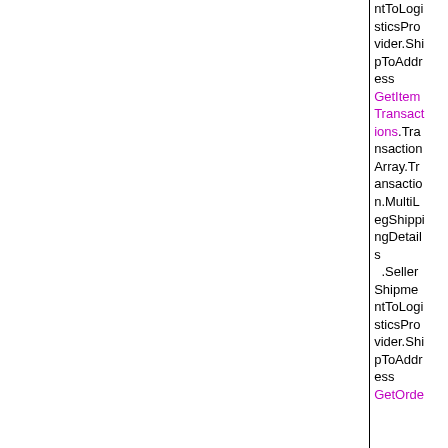ntToLogisticsProvider.ShipToAddress GetItemTransactions.TransactionArray.Transaction.MultiLegShippingDetails .SellerShipmentToLogisticsProvider.ShipToAddress GetOrde...